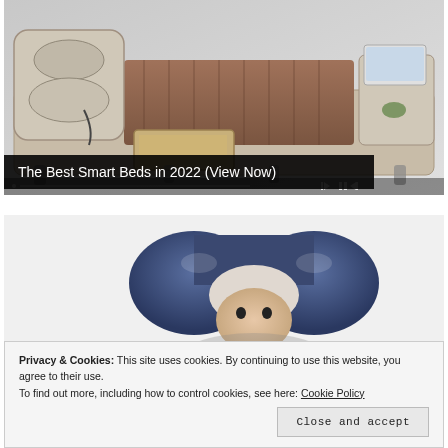[Figure (photo): A smart bed with built-in storage drawers, massage chair headboard, wooden slat base, side table with laptop, and various smart features. Shown in beige/cream upholstery against a light grey background. Media player controls visible at bottom of image area.]
The Best Smart Beds in 2022 (View Now)
[Figure (photo): A person wearing a dark navy blue travel pillow/neck pillow shaped like a wide U or mushroom, covering the head and face area. Only partial figure visible.]
Privacy & Cookies: This site uses cookies. By continuing to use this website, you agree to their use.
To find out more, including how to control cookies, see here: Cookie Policy